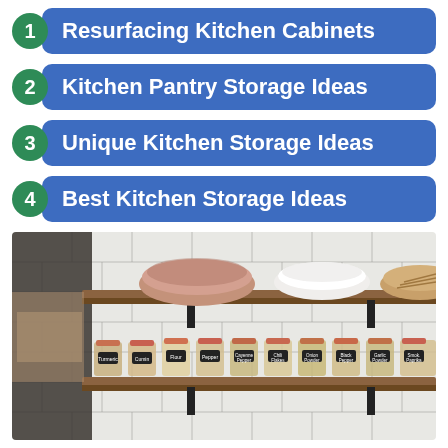1 Resurfacing Kitchen Cabinets
2 Kitchen Pantry Storage Ideas
3 Unique Kitchen Storage Ideas
4 Best Kitchen Storage Ideas
[Figure (photo): Kitchen open shelving with bowls on top shelf and labeled glass jars on lower shelf, white subway tile background]